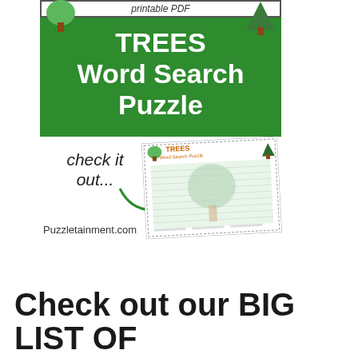[Figure (illustration): Promotional banner for TREES Word Search Puzzle printable PDF, showing green banner with title text, a small preview of the puzzle page, 'check it out...' text with arrow, and Puzzletainment.com branding]
Check out our BIG LIST OF